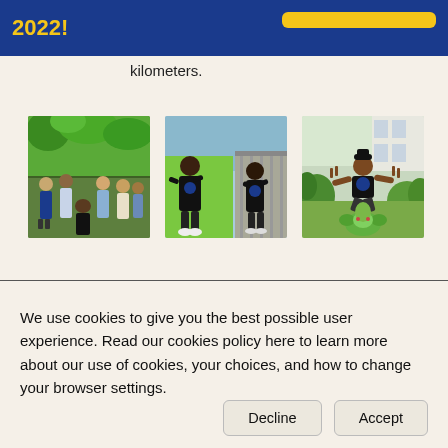2022!
kilometers.
[Figure (photo): Group of people posing outdoors in a park with green trees]
[Figure (photo): Two people posing outdoors, one in front of a green screen, wearing matching black shirts]
[Figure (photo): Person crouching on grass outdoors, posing with a green plush toy, making peace signs]
We use cookies to give you the best possible user experience. Read our cookies policy here to learn more about our use of cookies, your choices, and how to change your browser settings.